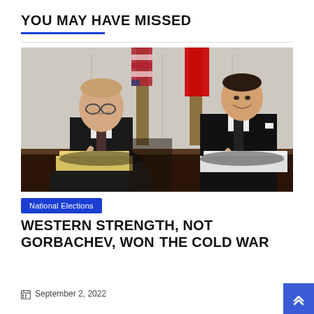YOU MAY HAVE MISSED
[Figure (photo): Two men in dark suits sitting at a table signing documents, with flags in the background — appears to be Mikhail Gorbachev and Ronald Reagan signing an agreement.]
National Elections
WESTERN STRENGTH, NOT GORBACHEV, WON THE COLD WAR
September 2, 2022